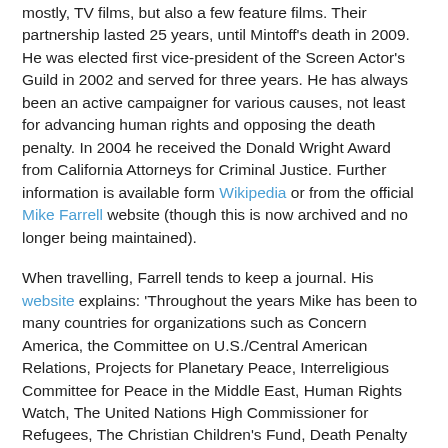mostly, TV films, but also a few feature films. Their partnership lasted 25 years, until Mintoff's death in 2009. He was elected first vice-president of the Screen Actor's Guild in 2002 and served for three years. He has always been an active campaigner for various causes, not least for advancing human rights and opposing the death penalty. In 2004 he received the Donald Wright Award from California Attorneys for Criminal Justice. Further information is available form Wikipedia or from the official Mike Farrell website (though this is now archived and no longer being maintained).
When travelling, Farrell tends to keep a journal. His website explains: 'Throughout the years Mike has been to many countries for organizations such as Concern America, the Committee on U.S./Central American Relations, Projects for Planetary Peace, Interreligious Committee for Peace in the Middle East, Human Rights Watch, The United Nations High Commissioner for Refugees, The Christian Children's Fund, Death Penalty Focus, and, the Center for International Policy. For each trip he has written a journal, either for personal purposes or to inform the organizations he's travelled for, of the situation in the areas.' Seven or eight of